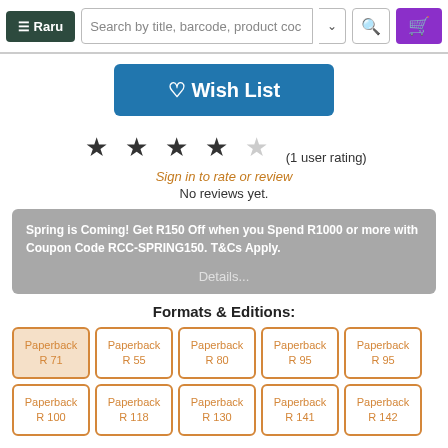≡ Raru | Search by title, barcode, product code
♡ Wish List
[Figure (other): 4 out of 5 stars rating (1 user rating)]
Sign in to rate or review
No reviews yet.
Spring is Coming! Get R150 Off when you Spend R1000 or more with Coupon Code RCC-SPRING150. T&Cs Apply.
Details...
Formats & Editions:
Paperback R 71 (selected)
Paperback R 55
Paperback R 80
Paperback R 95
Paperback R 95
Paperback R 100
Paperback R 118
Paperback R 130
Paperback R 141
Paperback R 142